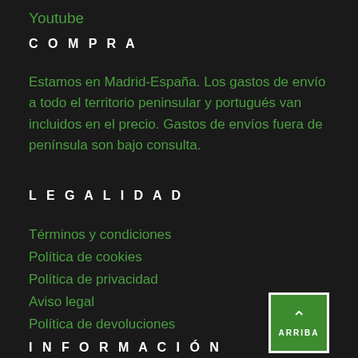Youtube
COMPRA
Estamos en Madrid-España. Los gastos de envío a todo el territorio peninsular y portugués van incluidos en el precio. Gastos de envíos fuera de península son bajo consulta.
LEGALIDAD
Términos y condiciones
Política de cookies
Política de privacidad
Aviso legal
Política de devoluciones
INFORMACIÓN
[Figure (logo): Green square button with white border, upward chevron arrow and text ARRIBA]